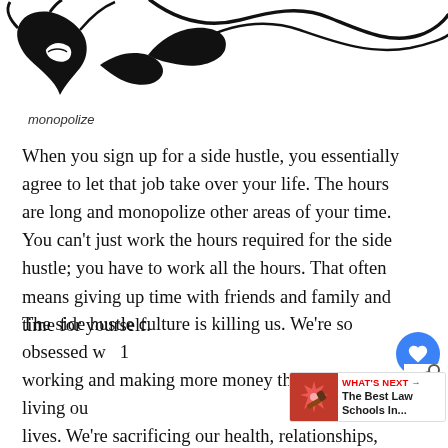[Figure (illustration): Partial illustration showing black ink drawing of what appears to be an animal or character, cropped at top of page]
monopolize
When you sign up for a side hustle, you essentially agree to let that job take over your life. The hours are long and monopolize other areas of your time. You can't just work the hours required for the side hustle; you have to work all the hours. That often means giving up time with friends and family and time for yourself.
The side hustle culture is killing us. We're so obsessed w working and making more money that we're not living ou lives. We're sacrificing our health, relationships, and sanity to make a few extra bucks. We need to stop this start living our lives instead of working ourselves to death.